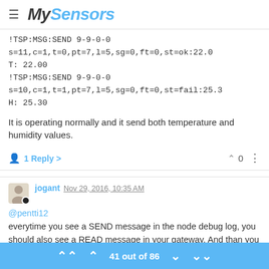MySensors
!TSP:MSG:SEND 9-9-0-0
s=11,c=1,t=0,pt=7,l=5,sg=0,ft=0,st=ok:22.0
T: 22.00
!TSP:MSG:SEND 9-9-0-0
s=10,c=1,t=1,pt=7,l=5,sg=0,ft=0,st=fail:25.3
H: 25.30
It is operating normally and it send both temperature and humidity values.
1 Reply   0
jogant Nov 29, 2016, 10:35 AM
@pentti12
everytime you see a SEND message in the node debug log, you should also see a READ message in your gateway. And than you should also see a SEND message to the controller and a
41 out of 86